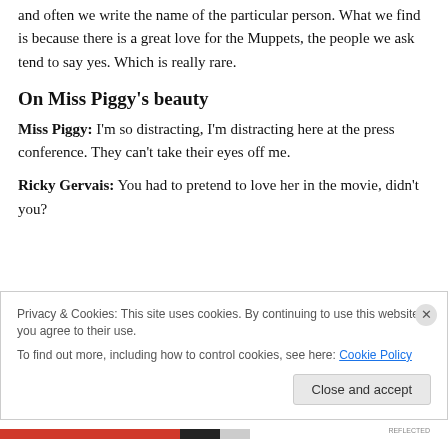and often we write the name of the particular person. What we find is because there is a great love for the Muppets, the people we ask tend to say yes. Which is really rare.
On Miss Piggy’s beauty
Miss Piggy: I’m so distracting, I’m distracting here at the press conference. They can’t take their eyes off me.
Ricky Gervais: You had to pretend to love her in the movie, didn’t you?
Privacy & Cookies: This site uses cookies. By continuing to use this website, you agree to their use.
To find out more, including how to control cookies, see here: Cookie Policy